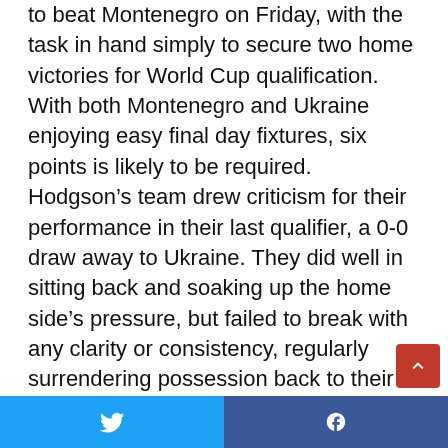to beat Montenegro on Friday, with the task in hand simply to secure two home victories for World Cup qualification. With both Montenegro and Ukraine enjoying easy final day fixtures, six points is likely to be required.

Hodgson's team drew criticism for their performance in their last qualifier, a 0-0 draw away to Ukraine. They did well in sitting back and soaking up the home side's pressure, but failed to break with any clarity or consistency, regularly surrendering possession back to their hosts. A different approach will be required on Friday, with the onus on England to attack.
Twitter | Facebook